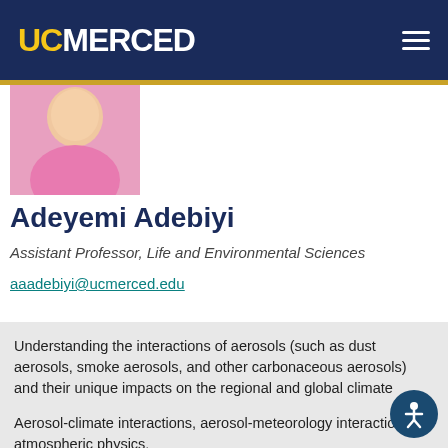UC MERCED
[Figure (photo): Partial photo of Adeyemi Adebiyi wearing a pink shirt, cropped at the shoulders/chest area]
Adeyemi Adebiyi
Assistant Professor, Life and Environmental Sciences
aaadebiyi@ucmerced.edu
Understanding the interactions of aerosols (such as dust aerosols, smoke aerosols, and other carbonaceous aerosols) and their unique impacts on the regional and global climate
Aerosol-climate interactions, aerosol-meteorology interactions, atmospheric physics,